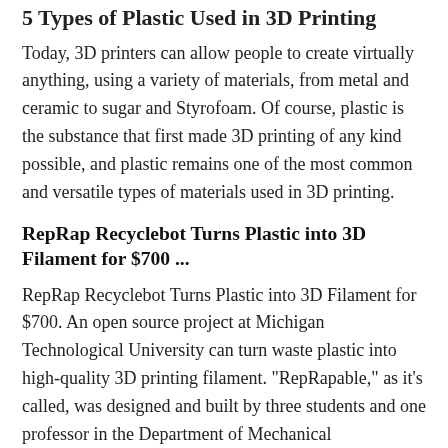5 Types of Plastic Used in 3D Printing
Today, 3D printers can allow people to create virtually anything, using a variety of materials, from metal and ceramic to sugar and Styrofoam. Of course, plastic is the substance that first made 3D printing of any kind possible, and plastic remains one of the most common and versatile types of materials used in 3D printing.
RepRap Recyclebot Turns Plastic into 3D Filament for $700 ...
RepRap Recyclebot Turns Plastic into 3D Filament for $700. An open source project at Michigan Technological University can turn waste plastic into high-quality 3D printing filament. "RepRapable," as it's called, was designed and built by three students and one professor in the Department of Mechanical Engineering-Engineering Mechanics.